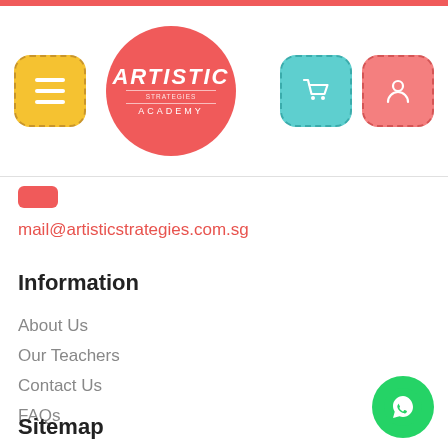[Figure (logo): Artistic Strategies Academy logo - circular red badge with white text]
mail@artisticstrategies.com.sg
Information
About Us
Our Teachers
Contact Us
FAQs
Sitemap